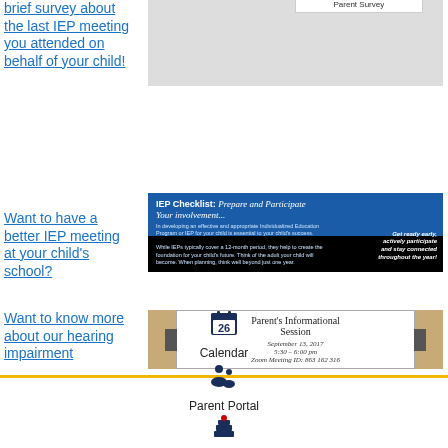brief survey about the last IEP meeting you attended on behalf of your child!
[Figure (screenshot): Edgecombe County Schools EC Parent Survey banner with bookshelves background]
Want to have a better IEP meeting at your child's school?
[Figure (screenshot): IEP Checklist: Prepare and Participate informational graphic with blue header and text about IEP meetings]
Want to know more about our hearing impairment
[Figure (screenshot): Parent's Informational Session flyer with date September 13, 2017, 5:30-6:00 pm, Zoom Meeting ID: 863 162 316]
Calendar  Parent Portal  Homework  Directions